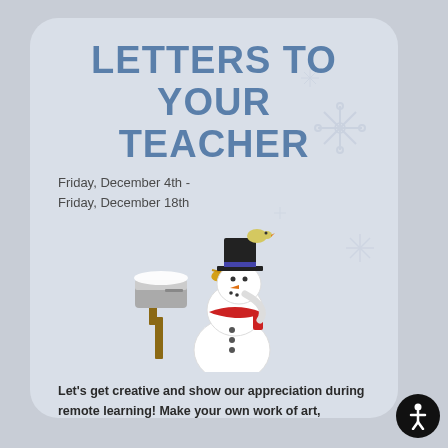LETTERS TO YOUR TEACHER
Friday, December 4th -
Friday, December 18th
[Figure (illustration): Cartoon snowman wearing a black top hat and red scarf, holding a broom, standing next to a snow-covered mailbox]
Let's get creative and show our appreciation during remote learning! Make your own work of art, drawing, or homemade card and drop them off at Norton Creek!  There will be a special mailbox labeled "letters to your teacher" in front of the school.
Sponsored by
your PTO and AVIC